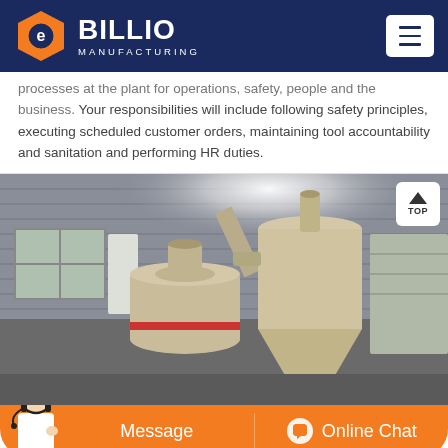BILLIO MANUFACTURING
processes at the plant for operations, safety, people and the business. Your responsibilities will include following safety principles, executing scheduled customer orders, maintaining tool accountability and sanitation and performing HR duties.
[Figure (photo): Industrial milling or grinding machine with cyclone separator, located inside a large factory/warehouse with corrugated metal walls. Equipment is beige/cream colored. A 'TOP' navigation button overlay appears in the upper right.]
Message | Online Chat